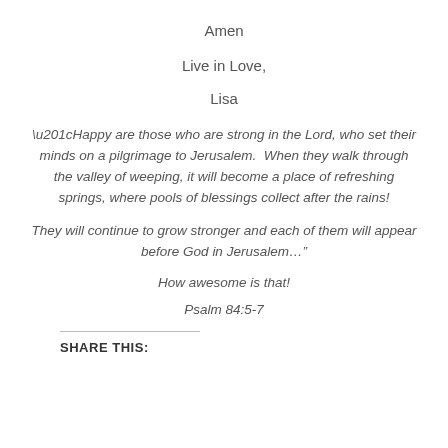Amen
Live in Love,
Lisa
“Happy are those who are strong in the Lord, who set their minds on a pilgrimage to Jerusalem.  When they walk through the valley of weeping, it will become a place of refreshing springs, where pools of blessings collect after the rains!
They will continue to grow stronger and each of them will appear before God in Jerusalem…”
How awesome is that!
Psalm 84:5-7
SHARE THIS: